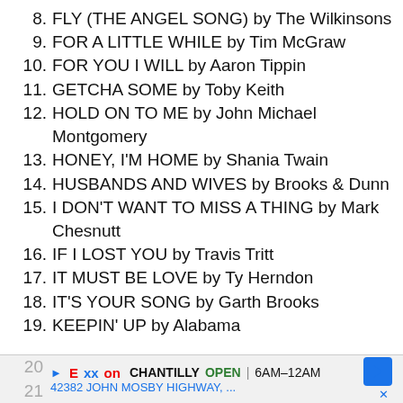8. FLY (THE ANGEL SONG) by The Wilkinsons
9. FOR A LITTLE WHILE by Tim McGraw
10. FOR YOU I WILL by Aaron Tippin
11. GETCHA SOME by Toby Keith
12. HOLD ON TO ME by John Michael Montgomery
13. HONEY, I'M HOME by Shania Twain
14. HUSBANDS AND WIVES by Brooks & Dunn
15. I DON'T WANT TO MISS A THING by Mark Chesnutt
16. IF I LOST YOU by Travis Tritt
17. IT MUST BE LOVE by Ty Herndon
18. IT'S YOUR SONG by Garth Brooks
19. KEEPIN' UP by Alabama
20. [partially obscured by ad]
21. [partially obscured by ad]